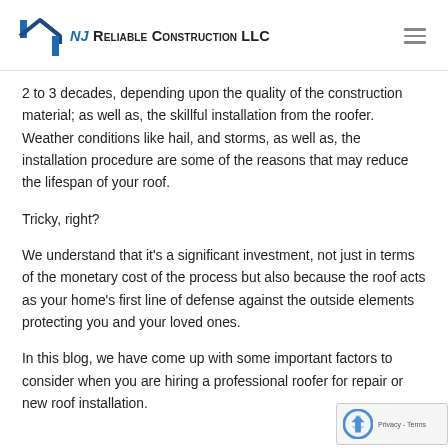NJ Reliable Construction LLC
2 to 3 decades, depending upon the quality of the construction material; as well as, the skillful installation from the roofer. Weather conditions like hail, and storms, as well as, the installation procedure are some of the reasons that may reduce the lifespan of your roof.
Tricky, right?
We understand that it's a significant investment, not just in terms of the monetary cost of the process but also because the roof acts as your home's first line of defense against the outside elements protecting you and your loved ones.
In this blog, we have come up with some important factors to consider when you are hiring a professional roofer for repair or new roof installation.